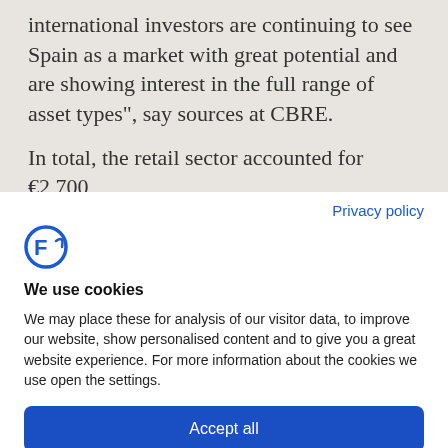international investors are continuing to see Spain as a market with great potential and are showing interest in the full range of asset types”, say sources at CBRE.
In total, the retail sector accounted for €2,700
Privacy policy
[Figure (logo): Blue circular logo with letter F stylized]
We use cookies
We may place these for analysis of our visitor data, to improve our website, show personalised content and to give you a great website experience. For more information about the cookies we use open the settings.
Accept all
Deny
No, adjust